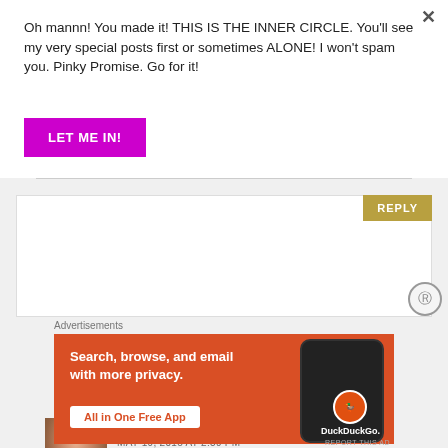Oh mannn! You made it! THIS IS THE INNER CIRCLE. You'll see my very special posts first or sometimes ALONE! I won't spam you. Pinky Promise. Go for it!
LET ME IN!
REPLY
promisespecial says:
MAY 19, 2018 AT 2:39 PM
This is so sad. So sorry about it
Like
Advertisements
[Figure (screenshot): DuckDuckGo advertisement banner with orange background. Text reads: Search, browse, and email with more privacy. All in One Free App. Shows a phone mockup and DuckDuckGo logo.]